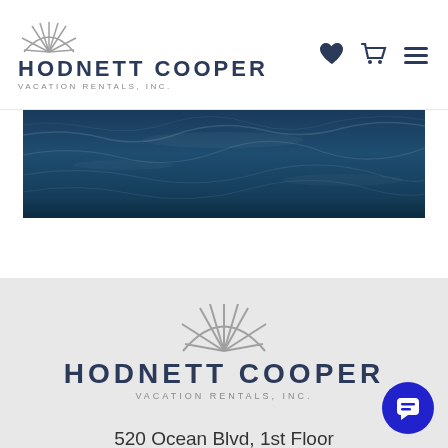[Figure (logo): Hodnett Cooper Vacation Rentals, Inc. logo with sun/fan icon in header navigation bar]
[Figure (photo): Ocean water aerial/close-up photo strip showing dark blue sea waves]
[Figure (logo): Hodnett Cooper Vacation Rentals, Inc. logo centered in footer gray section]
520 Ocean Blvd, 1st Floor
Saint Simons Island, GA 31522